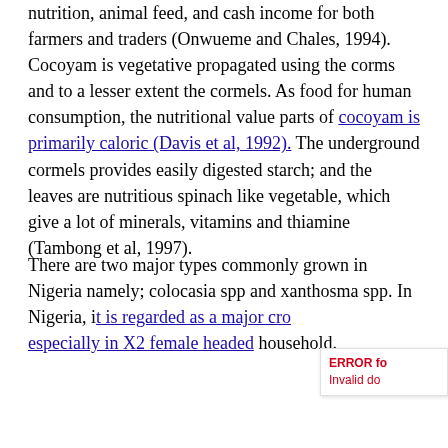nutrition, animal feed, and cash income for both farmers and traders (Onwueme and Chales, 1994). Cocoyam is vegetative propagated using the corms and to a lesser extent the cormels. As food for human consumption, the nutritional value parts of cocoyam is primarily caloric (Davis et al, 1992). The underground cormels provides easily digested starch; and the leaves are nutritious spinach like vegetable, which give a lot of minerals, vitamins and thiamine (Tambong et al, 1997).
There are two major types commonly grown in Nigeria namely; colocasia spp and xanthosma spp. In Nigeria, it is regarded as a major crop especially in X2 female headed household.